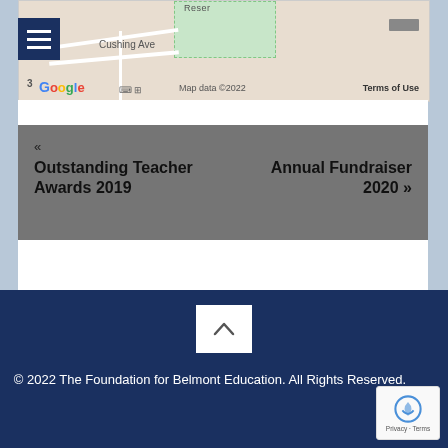[Figure (map): Google Maps screenshot showing a local area with Cushing Ave labeled, a nature reserve area visible, Google logo, map data copyright 2022, and Terms of Use link]
« Outstanding Teacher Awards 2019
Annual Fundraiser 2020 »
[Figure (other): Back to top button with upward chevron arrow on white square background]
© 2022 The Foundation for Belmont Education. All Rights Reserved.